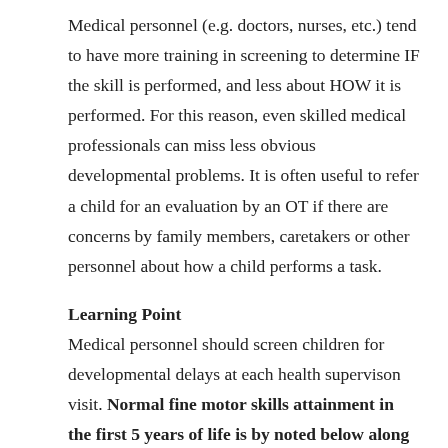Medical personnel (e.g. doctors, nurses, etc.) tend to have more training in screening to determine IF the skill is performed, and less about HOW it is performed. For this reason, even skilled medical professionals can miss less obvious developmental problems. It is often useful to refer a child for an evaluation by an OT if there are concerns by family members, caretakers or other personnel about how a child performs a task.
Learning Point
Medical personnel should screen children for developmental delays at each health supervison visit. Normal fine motor skills attainment in the first 5 years of life is by noted below along with areas of concern that should be considered for further evaluation and possible referral to an OT.